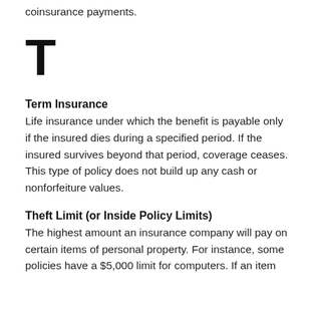coinsurance payments.
T
Term Insurance
Life insurance under which the benefit is payable only if the insured dies during a specified period. If the insured survives beyond that period, coverage ceases. This type of policy does not build up any cash or nonforfeiture values.
Theft Limit (or Inside Policy Limits)
The highest amount an insurance company will pay on certain items of personal property. For instance, some policies have a $5,000 limit for computers. If an item